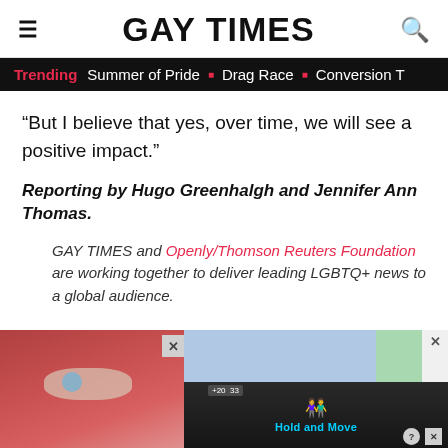GAY TIMES
Trending  Summer of Pride  ■  Drag Race  ■  Conversion T
“But I believe that yes, over time, we will see a positive impact.”
Reporting by Hugo Greenhalgh and Jennifer Ann Thomas.
GAY TIMES and Openly/Thomson Reuters Foundation are working together to deliver leading LGBTQ+ news to a global audience.
[Figure (screenshot): Advertisement banner with a woman with red hair, a blue/green color block, close button, and a dark mobile game ad panel showing 'Hold and Move' text with cyan icon.]